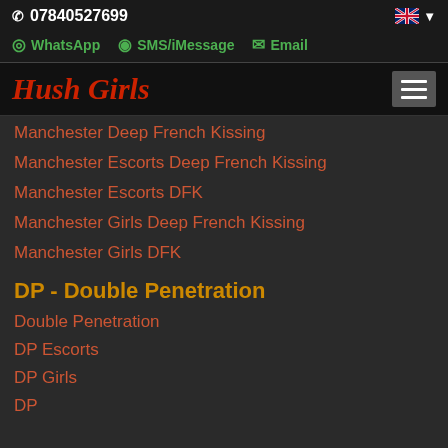07840527699
WhatsApp  SMS/iMessage  Email
Hush Girls
Manchester Deep French Kissing
Manchester Escorts Deep French Kissing
Manchester Escorts DFK
Manchester Girls Deep French Kissing
Manchester Girls DFK
DP - Double Penetration
Double Penetration
DP Escorts
DP Girls
DP